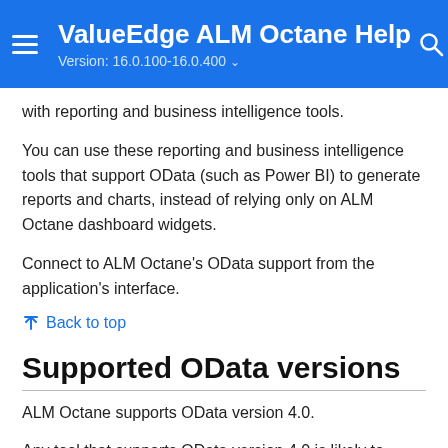ValueEdge ALM Octane Help
Version: 16.0.100-16.0.400
with reporting and business intelligence tools.
You can use these reporting and business intelligence tools that support OData (such as Power BI) to generate reports and charts, instead of relying only on ALM Octane dashboard widgets.
Connect to ALM Octane's OData support from the application's interface.
↑ Back to top
Supported OData versions
ALM Octane supports OData version 4.0.
Any tool that supports OData version 4.0 is likely to